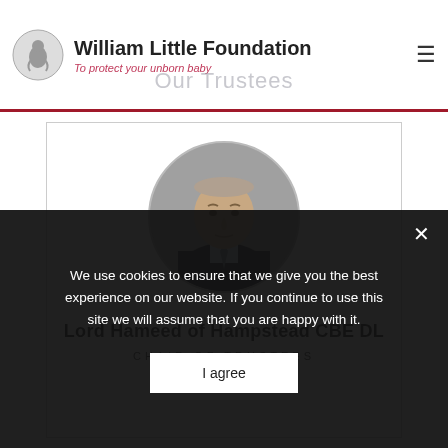William Little Foundation — To protect your unborn baby
Our Trustees
[Figure (photo): Circular portrait photo of Lord Hameed of Hampstead CBE DL, an elderly man in a dark pinstripe suit with a light blue shirt and grey tie, grey background]
Lord Hameed of Hampstead CBE DL
CHAIR OF TRUSTEES
We use cookies to ensure that we give you the best experience on our website. If you continue to use this site we will assume that you are happy with it.